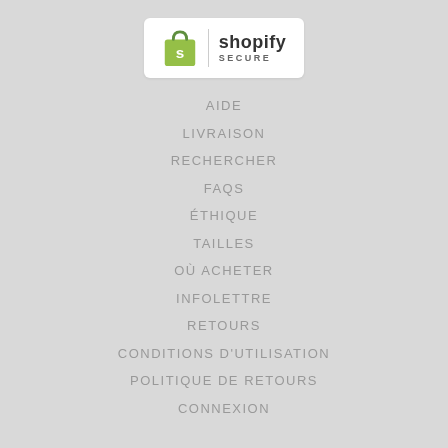[Figure (logo): Shopify Secure logo badge — white rounded rectangle with green shopping bag icon and 'shopify SECURE' text]
AIDE
LIVRAISON
RECHERCHER
FAQS
ÉTHIQUE
TAILLES
OÙ ACHETER
INFOLETTRE
RETOURS
CONDITIONS D'UTILISATION
POLITIQUE DE RETOURS
CONNEXION